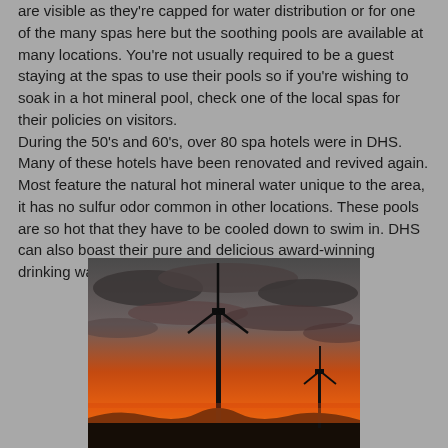are visible as they're capped for water distribution or for one of the many spas here but the soothing pools are available at many locations. You're not usually required to be a guest staying at the spas to use their pools so if you're wishing to soak in a hot mineral pool, check one of the local spas for their policies on visitors. During the 50's and 60's, over 80 spa hotels were in DHS. Many of these hotels have been renovated and revived again. Most feature the natural hot mineral water unique to the area, it has no sulfur odor common in other locations. These pools are so hot that they have to be cooled down to swim in. DHS can also boast their pure and delicious award-winning drinking water.
[Figure (photo): Photograph of wind turbines silhouetted against a vivid orange and red sunset sky with dramatic clouds]